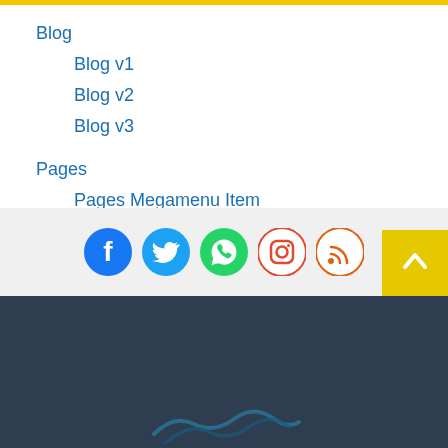Blog
Blog v1
Blog v2
Blog v3
Pages
Pages Megamenu Item
Features
Contact Us
[Figure (infographic): Social media icons: Facebook (blue circle), Twitter (blue circle), WhatsApp (green circle), Instagram (orange circle), RSS (orange circle), and a yellow back-to-top button with white arrow]
[Figure (logo): Partial logo waves in dark blue/teal at bottom of page on dark navy footer]